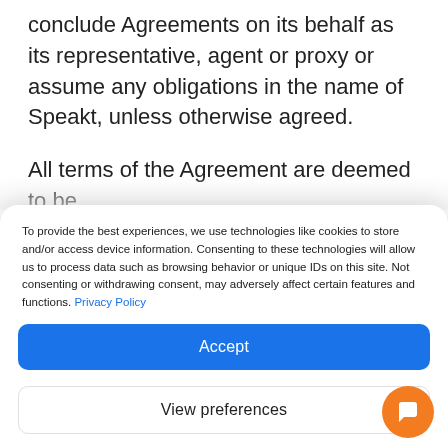conclude Agreements on its behalf as its representative, agent or proxy or assume any obligations in the name of Speakt, unless otherwise agreed.
All terms of the Agreement are deemed to be
To provide the best experiences, we use technologies like cookies to store and/or access device information. Consenting to these technologies will allow us to process data such as browsing behavior or unique IDs on this site. Not consenting or withdrawing consent, may adversely affect certain features and functions. Privacy Policy
Accept
View preferences